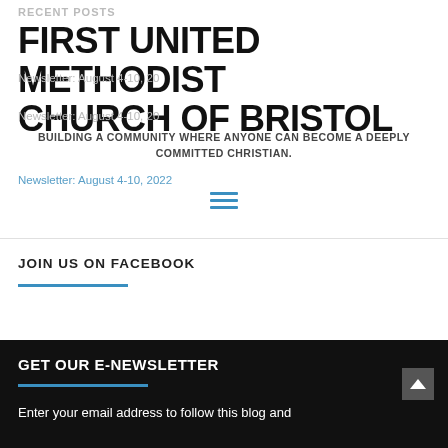RECENT POSTS
FIRST UNITED METHODIST CHURCH OF BRISTOL
Newsletter: August 4-10, 2022
Newsletter: August 4-10, 2022
BUILDING A COMMUNITY WHERE ANYONE CAN BECOME A DEEPLY COMMITTED CHRISTIAN.
Newsletter: August 4-10, 2022
JOIN US ON FACEBOOK
GET OUR E-NEWSLETTER
Enter your email address to follow this blog and